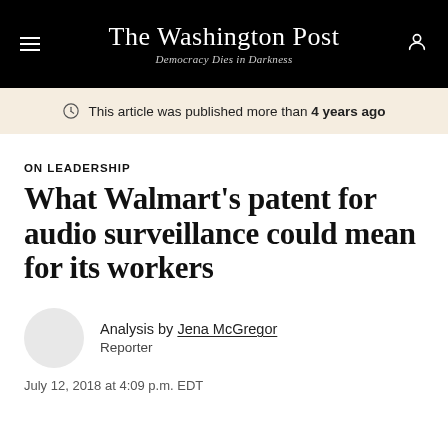The Washington Post — Democracy Dies in Darkness
This article was published more than 4 years ago
ON LEADERSHIP
What Walmart's patent for audio surveillance could mean for its workers
Analysis by Jena McGregor
Reporter
July 12, 2018 at 4:09 p.m. EDT